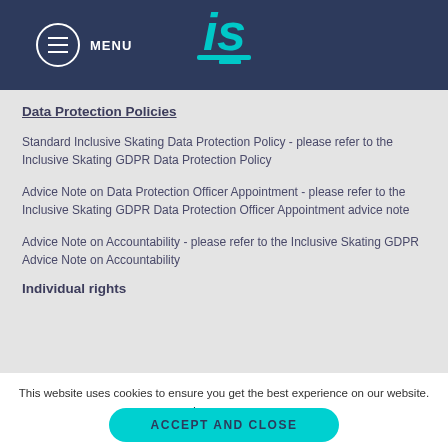MENU | IS logo
Data Protection Policies
Standard Inclusive Skating Data Protection Policy - please refer to the Inclusive Skating GDPR Data Protection Policy
Advice Note on Data Protection Officer Appointment - please refer to the Inclusive Skating GDPR Data Protection Officer Appointment advice note
Advice Note on Accountability - please refer to the Inclusive Skating GDPR Advice Note on Accountability
Individual rights
This website uses cookies to ensure you get the best experience on our website. Learn more.
ACCEPT AND CLOSE